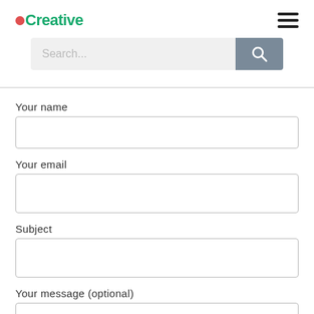Creative
[Figure (screenshot): Search bar with text input 'Search...' and a grey search button with magnifying glass icon]
Your name
[Figure (screenshot): Empty text input field for Your name]
Your email
[Figure (screenshot): Empty text input field for Your email]
Subject
[Figure (screenshot): Empty text input field for Subject]
Your message (optional)
[Figure (screenshot): Empty textarea for Your message (optional)]